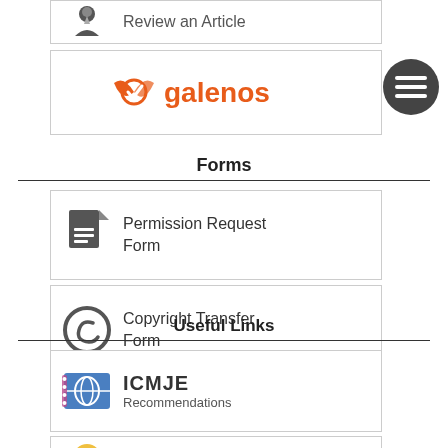[Figure (logo): Partial view of 'Review an Article' button with person/article icon at top]
[Figure (logo): Galenos publisher logo in orange with checkmark-like symbol]
Forms
[Figure (illustration): Permission Request Form button with document icon]
[Figure (illustration): Copyright Transfer Form button with copyright circle icon]
Useful Links
[Figure (illustration): ICMJE Recommendations button with world/book icon]
[Figure (illustration): Partially visible bottom link button]